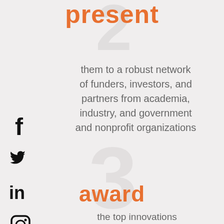present
them to a robust network of funders, investors, and partners from academia, industry, and government and nonprofit organizations
award
the top innovations from the competition with cash and in-kind support
[Figure (illustration): Social media icons on left side: Facebook (f), Twitter (bird), LinkedIn (in), Instagram (camera in rounded square)]